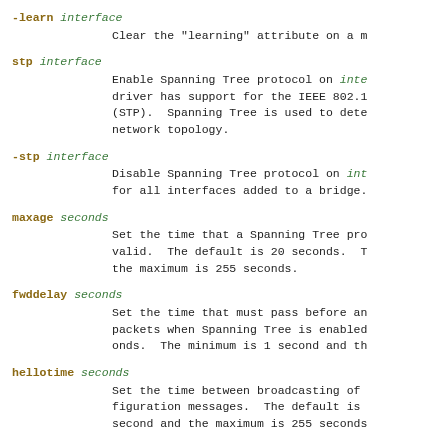-learn interface
    Clear the "learning" attribute on a m
stp interface
    Enable Spanning Tree protocol on inte driver has support for the IEEE 802.1 (STP). Spanning Tree is used to dete network topology.
-stp interface
    Disable Spanning Tree protocol on int for all interfaces added to a bridge.
maxage seconds
    Set the time that a Spanning Tree pro valid. The default is 20 seconds. T the maximum is 255 seconds.
fwddelay seconds
    Set the time that must pass before an packets when Spanning Tree is enabled onds. The minimum is 1 second and th
hellotime seconds
    Set the time between broadcasting of figuration messages. The default is second and the maximum is 255 seconds